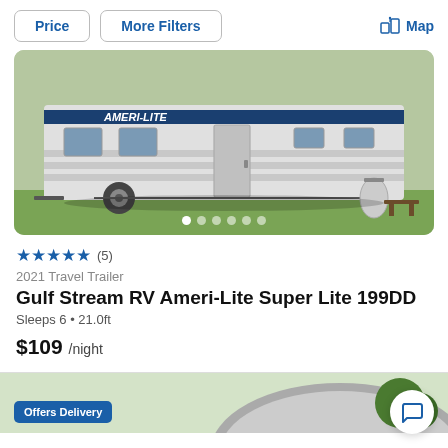Price | More Filters | Map
[Figure (photo): Photo of a 2021 Gulf Stream RV Ameri-Lite travel trailer parked on green grass, showing the side of the white and gray trailer with blue stripe and 'AMERI-LITE' branding, with image carousel dots at the bottom]
★★★★★ (5)
2021 Travel Trailer
Gulf Stream RV Ameri-Lite Super Lite 199DD
Sleeps 6 • 21.0ft
$109 /night
[Figure (photo): Partial view of a second RV listing with 'Offers Delivery' badge and partial image of another camper/trailer]